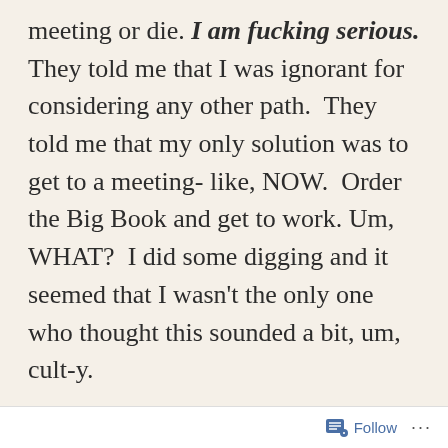meeting or die. I am fucking serious. They told me that I was ignorant for considering any other path.  They told me that my only solution was to get to a meeting- like, NOW.  Order the Big Book and get to work. Um, WHAT?  I did some digging and it seemed that I wasn't the only one who thought this sounded a bit, um, cult-y.
This from DrugAbuse.com: 'One of the keys to keeping cult members in line is to strip them of any personal power. As such, AA teaches that its members are powerless
Follow ···